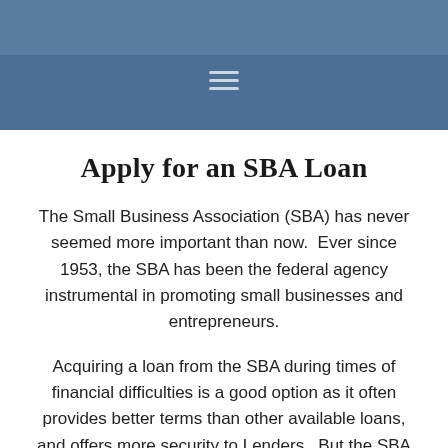[Navigation banner with hamburger menu icon]
Apply for an SBA Loan
The Small Business Association (SBA) has never seemed more important than now.  Ever since 1953, the SBA has been the federal agency instrumental in promoting small businesses and entrepreneurs.
Acquiring a loan from the SBA during times of financial difficulties is a good option as it often provides better terms than other available loans, and offers more security to Lenders.  But the SBA loan is not an automatic “grant”, and the paperwork requirements can be a little daunting.
The Victoria Law Group has experience with the SBA Loan process and works with Lenders and Financial